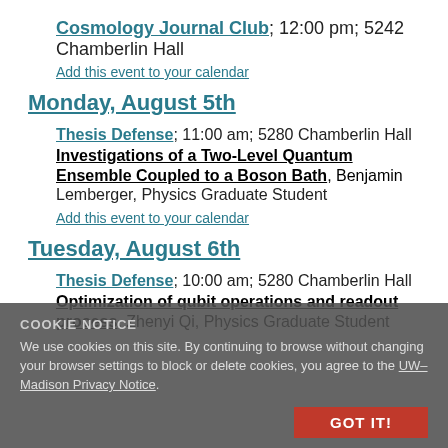Cosmology Journal Club; 12:00 pm; 5242 Chamberlin Hall
Add this event to your calendar
Monday, August 5th
Thesis Defense; 11:00 am; 5280 Chamberlin Hall
Investigations of a Two-Level Quantum Ensemble Coupled to a Boson Bath, Benjamin Lemberger, Physics Graduate Student
Add this event to your calendar
Tuesday, August 6th
Thesis Defense; 10:00 am; 5280 Chamberlin Hall
Optimization of qubit operations and readout process, Zhenyi Qi, Physics Graduate Student
COOKIE NOTICE
We use cookies on this site. By continuing to browse without changing your browser settings to block or delete cookies, you agree to the UW–Madison Privacy Notice.